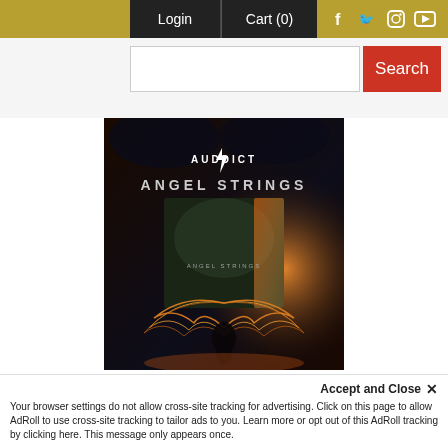Login  Cart (0)
[Figure (screenshot): Website navigation bar with Login, Cart (0) buttons on dark background and social media icons (Facebook, Twitter, Instagram, YouTube) on gold background]
[Figure (illustration): Angel Strings product banner by Auddict showing dark fantasy angel artwork with glowing orange wings and album cover inset reading ANGEL STRINGS]
Accept and Close ✕
Your browser settings do not allow cross-site tracking for advertising. Click on this page to allow AdRoll to use cross-site tracking to tailor ads to you. Learn more or opt out of this AdRoll tracking by clicking here. This message only appears once.